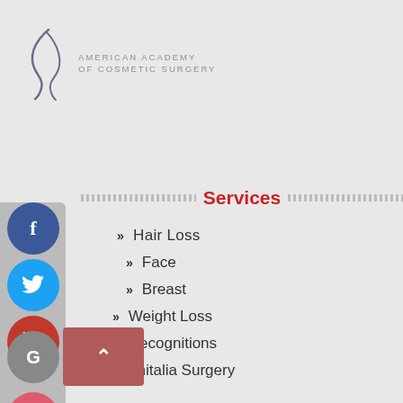[Figure (logo): American Academy of Cosmetic Surgery logo with stylized figure and text]
Services
Hair Loss
Face
Breast
Weight Loss
Recognitions
Genitalia Surgery